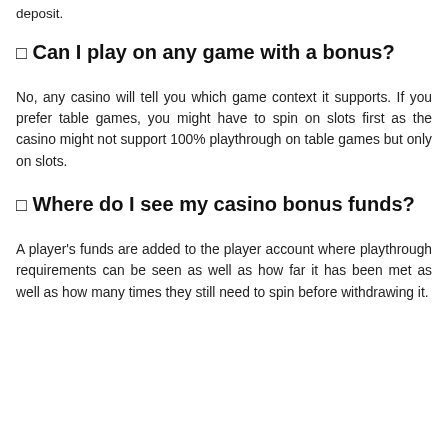deposit.
⬜ Can I play on any game with a bonus?
No, any casino will tell you which game context it supports. If you prefer table games, you might have to spin on slots first as the casino might not support 100% playthrough on table games but only on slots.
⬜ Where do I see my casino bonus funds?
A player's funds are added to the player account where playthrough requirements can be seen as well as how far it has been met as well as how many times they still need to spin before withdrawing it.